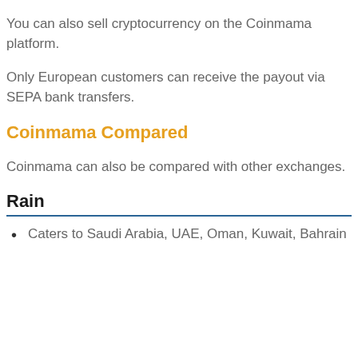You can also sell cryptocurrency on the Coinmama platform.
Only European customers can receive the payout via SEPA bank transfers.
Coinmama Compared
Coinmama can also be compared with other exchanges.
Rain
Caters to Saudi Arabia, UAE, Oman, Kuwait, Bahrain